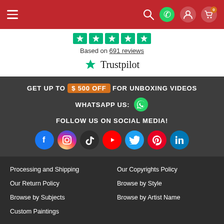Navigation bar with hamburger menu and icons
Based on 691 reviews
[Figure (logo): Trustpilot logo with green star]
GET UP TO $ 500 OFF FOR UNBOXING VIDEOS
WHATSAPP US:
FOLLOW US ON SOCIAL MEDIA!
[Figure (infographic): Social media icons: Facebook, Instagram, TikTok, YouTube, Twitter, Pinterest, LinkedIn]
Processing and Shipping
Our Copyrights Policy
Our Return Policy
Browse by Style
Browse by Subjects
Browse by Artist Name
Custom Paintings